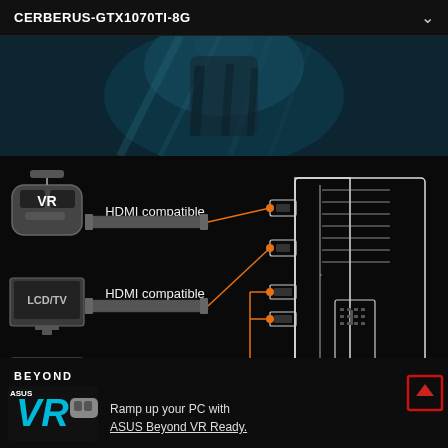CERBERUS-GTX1070TI-8G
[Figure (screenshot): Dark teal/blue abstract background image, partial view of armored figure]
[Figure (engineering-diagram): GPU connectivity diagram showing VR headset, LCD/TV monitors connected via HDMI compatible (x2), DisplayPort compatible, and DVI compatible cables to a graphics card with labeled ports. Orange connector lines link devices to GPU ports.]
[Figure (logo): ASUS Beyond VR Ready logo with red upward arrow button on right]
Ramp up your PC with ASUS Beyond VR Ready.